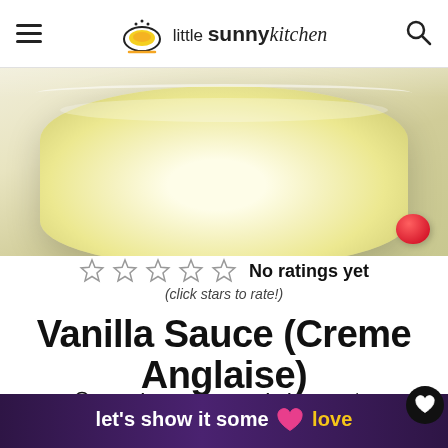little sunny kitchen
[Figure (photo): Close-up photo of a bowl of vanilla sauce (creme anglaise) with a raspberry garnish]
No ratings yet
(click stars to rate!)
Vanilla Sauce (Creme Anglaise)
Prep Time: 5 mins   Cook Time: 10 mins   Total Time: 15 mins   Author: Diana
let's show it some love